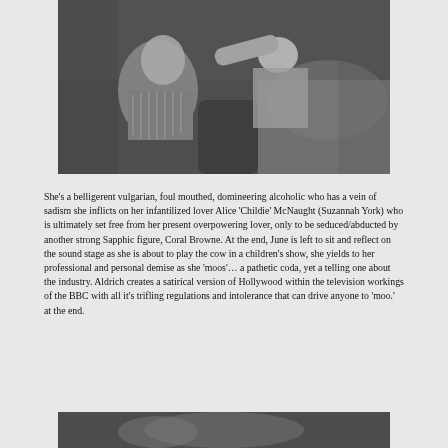[Figure (photo): Black and white photograph of two people on a sofa, one appears to be drinking or feeding the other, in an intimate/dramatic scene]
She’s a belligerent vulgarian, foul mouthed, domineering alcoholic who has a vein of sadism she inflicts on her infantilized lover Alice ‘Childie’ McNaught (Suzannah York) who is ultimately set free from her present overpowering lover, only to be seduced/abducted by another strong Sapphic figure, Coral Browne. At the end, June is left to sit and reflect on the sound stage as she is about to play the cow in a children’s show, she yields to her professional and personal demise as she ‘moos’… a pathetic coda, yet a telling one about the industry. Aldrich creates a satirical version of Hollywood within the television workings of the BBC with all it’s trifling regulations and intolerance that can drive anyone to ‘moo.’ at the end.
[Figure (photo): Black and white photograph partially visible at bottom of page]